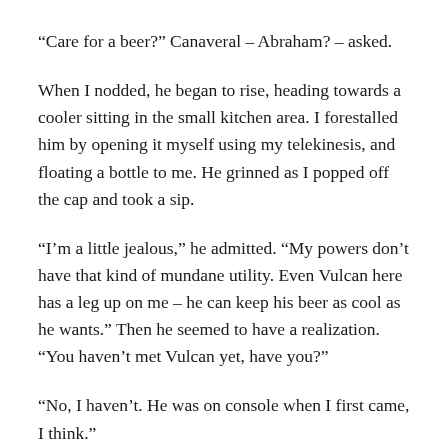“Care for a beer?” Canaveral – Abraham? – asked.
When I nodded, he began to rise, heading towards a cooler sitting in the small kitchen area. I forestalled him by opening it myself using my telekinesis, and floating a bottle to me. He grinned as I popped off the cap and took a sip.
“I’m a little jealous,” he admitted. “My powers don’t have that kind of mundane utility. Even Vulcan here has a leg up on me – he can keep his beer as cool as he wants.” Then he seemed to have a realization. “You haven’t met Vulcan yet, have you?”
“No, I haven’t. He was on console when I first came, I think.”